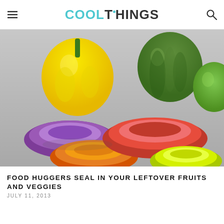COOLTHINGS
[Figure (photo): Colorful silicone Food Huggers in purple, orange, red, and yellow-green colors, displayed on a gray surface with fresh vegetables (yellow bell pepper, green bell pepper, lime) in the background.]
FOOD HUGGERS SEAL IN YOUR LEFTOVER FRUITS AND VEGGIES
JULY 11, 2013